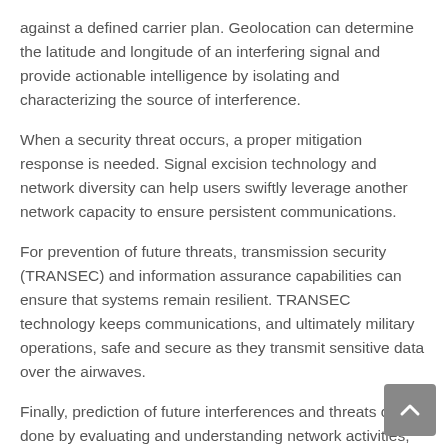against a defined carrier plan. Geolocation can determine the latitude and longitude of an interfering signal and provide actionable intelligence by isolating and characterizing the source of interference.
When a security threat occurs, a proper mitigation response is needed. Signal excision technology and network diversity can help users swiftly leverage another network capacity to ensure persistent communications.
For prevention of future threats, transmission security (TRANSEC) and information assurance capabilities can ensure that systems remain resilient. TRANSEC technology keeps communications, and ultimately military operations, safe and secure as they transmit sensitive data over the airwaves.
Finally, prediction of future interferences and threats can be done by evaluating and understanding network activities, looking at historical data and ensuring rapid response to adjust for any inconsistencies.